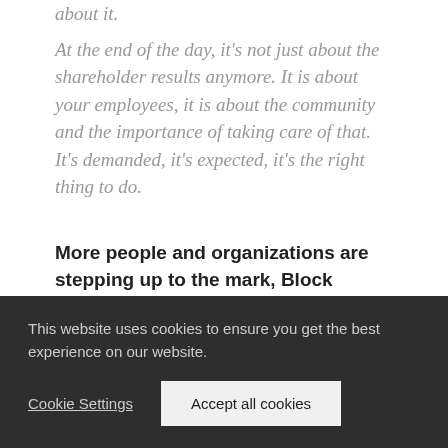about it.
At the end of the day, it's not just about the shareholder results anymore. It is about your employees, it is about the community and the importance of taking care of that. It's demanded, it's expected, it's the right thing to do.
More people and organizations are stepping up to the mark, Block insisted:
“
This website uses cookies to ensure you get the best experience on our website.
Cookie Settings
Accept all cookies